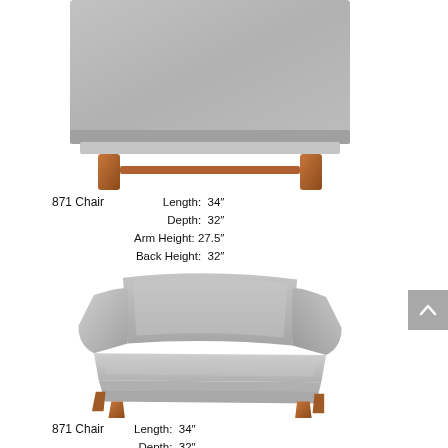[Figure (photo): Rear/back view of 871 Chair upholstered in grey fabric with wooden legs, cropped at top]
871 Chair    Length: 34"
    Depth: 32"
    Arm Height: 27.5"
    Back Height: 32"
[Figure (photo): Front three-quarter view of 871 Chair upholstered in grey fabric with wooden legs]
871 Chair    Length: 34"
    Depth: 32"